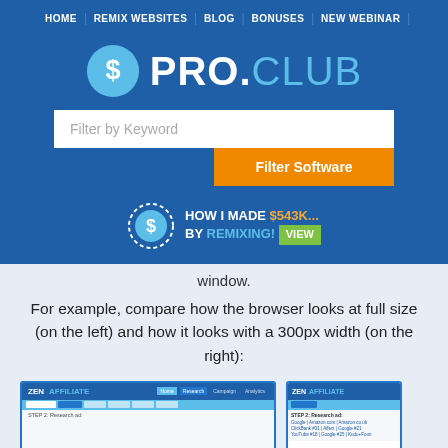HOME | REMIX WEBSITES | BLOG | BONUSES | NEW WEBINAR |
[Figure (logo): PRO.CLUB logo with blue circle dollar sign icon and text PRO.CLUB]
[Figure (screenshot): Search bar with 'Filter by Keyword' placeholder and orange 'Filter Software' button below]
[Figure (infographic): Promo banner: HOW I MADE $543K... BY REMIXING! VIEW with dotted circle dollar sign icon]
window.
For example, compare how the browser looks at full size (on the left) and how it looks with a 300px width (on the right):
[Figure (screenshot): Two side-by-side screenshots of ZEN AFFILIATE website, one full size on left and one 300px width on right]